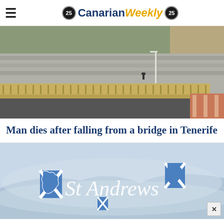Canarian Weekly
[Figure (photo): Aerial/overhead view of a bridge over a road in Tenerife, showing the bridge structure, lanes, crosswalk markings, and surrounding urban area.]
Man dies after falling from a bridge in Tenerife
[Figure (illustration): St Andrews promotional graphic with blue Scottish flag (Saltire) motifs and stylized cursive 'St Andrews' text on a light blue/grey misty background with mountain silhouette.]